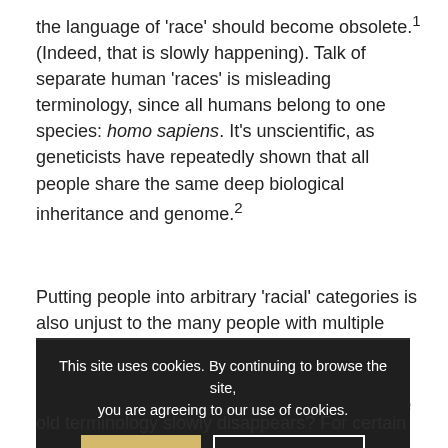the language of 'race' should become obsolete.¹ (Indeed, that is slowly happening). Talk of separate human 'races' is misleading terminology, since all humans belong to one species: homo sapiens. It's unscientific, as geneticists have repeatedly shown that all people share the same deep biological inheritance and genome.²
Putting people into arbitrary 'racial' categories is also unjust to the many people with multiple ethnic heritages.³ And the terminology is confusing even for those who use it. No definition of 'race' has ever been agreed. There are fundamental questions, such as how many 'races' there are.
So this BLOG asks what is happening next, as the old terminology slowly disappears? For certain
This site uses cookies. By continuing to browse the site, you are agreeing to our use of cookies.